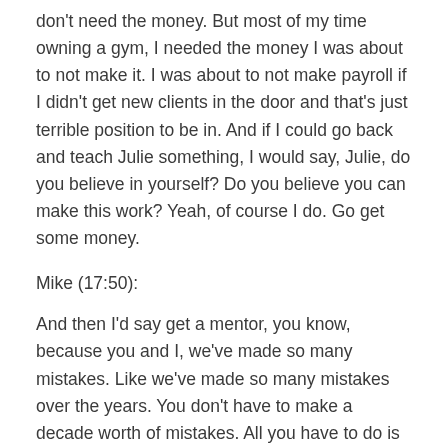don't need the money. But most of my time owning a gym, I needed the money I was about to not make it. I was about to not make payroll if I didn't get new clients in the door and that's just terrible position to be in. And if I could go back and teach Julie something, I would say, Julie, do you believe in yourself? Do you believe you can make this work? Yeah, of course I do. Go get some money.
Mike (17:50):
And then I'd say get a mentor, you know, because you and I, we've made so many mistakes. Like we've made so many mistakes over the years. You don't have to make a decade worth of mistakes. All you have to do is talk to a mentor who can say, here's what you need to do. And the Two-Brain Growth ToolKit will help you do that. You know, get some money, invest long term. And